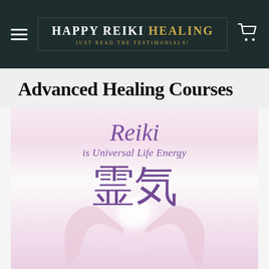Happy Reiki Healing — Just Read the Testimonials! [navigation bar with hamburger menu and cart icon]
Advanced Healing Courses
[Figure (illustration): Reiki healing image showing cupped hands with a glowing orb, text reading 'Reiki is Universal Life Energy' with Japanese kanji characters for Reiki (霊気) overlaid in purple on a pink/lavender gradient background]